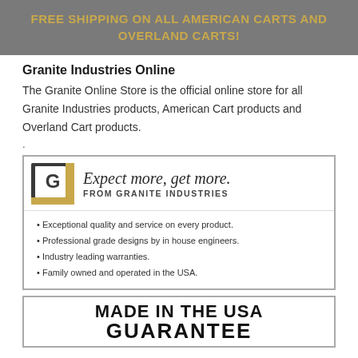FREE SHIPPING ON ALL AMERICAN CARTS AND OVERLAND CARTS!
Granite Industries Online
The Granite Online Store is the official online store for all Granite Industries products, American Cart products and Overland Cart products.
[Figure (logo): Granite Industries promotional box with logo showing 'G' in a square frame, tagline 'Expect more, get more. FROM GRANITE INDUSTRIES', and bullet points: Exceptional quality and service on every product. Professional grade designs by in house engineers. Industry leading warranties. Family owned and operated in the USA.]
[Figure (logo): Made in the USA Guarantee badge showing text 'MADE IN THE USA' and 'GUARANTEE' in large bold black letters on white background with border.]